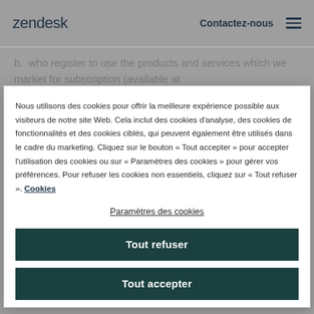zendesk   Contactez-nous
b. who register to use the products and services which we market for subscription (available at
Nous utilisons des cookies pour offrir la meilleure expérience possible aux visiteurs de notre site Web. Cela inclut des cookies d'analyse, des cookies de fonctionnalités et des cookies ciblés, qui peuvent également être utilisés dans le cadre du marketing. Cliquez sur le bouton « Tout accepter » pour accepter l'utilisation des cookies ou sur « Paramètres des cookies » pour gérer vos préférences. Pour refuser les cookies non essentiels, cliquez sur « Tout refuser ». Cookies
Paramètres des cookies
Tout refuser
Tout accepter